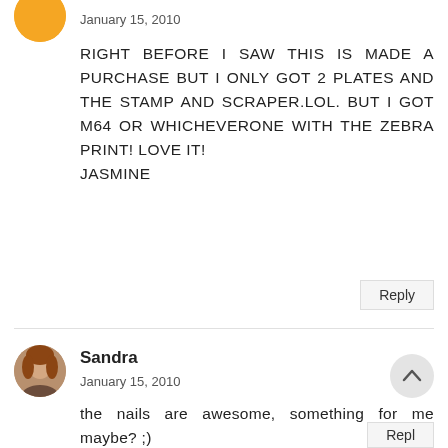[Figure (illustration): Orange circle avatar (partially visible at top left)]
January 15, 2010
RIGHT BEFORE I SAW THIS IS MADE A PURCHASE BUT I ONLY GOT 2 PLATES AND THE STAMP AND SCRAPER.LOL. BUT I GOT M64 OR WHICHEVERONE WITH THE ZEBRA PRINT! LOVE IT!
JASMINE
Reply
[Figure (photo): Circular avatar photo of Sandra, a woman with reddish-brown hair]
Sandra
January 15, 2010
the nails are awesome, something for me maybe? ;)
Reply